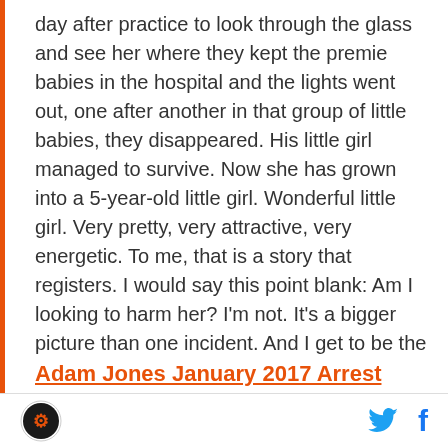day after practice to look through the glass and see her where they kept the premie babies in the hospital and the lights went out, one after another in that group of little babies, they disappeared. His little girl managed to survive. Now she has grown into a 5-year-old little girl. Wonderful little girl. Very pretty, very attractive, very energetic. To me, that is a story that registers. I would say this point blank: Am I looking to harm her? I'm not. It's a bigger picture than one incident. And I get to be the one that sits in the chair to decide that. So I have chosen to decide it the way I am deciding it."
Adam Jones January 2017 Arrest